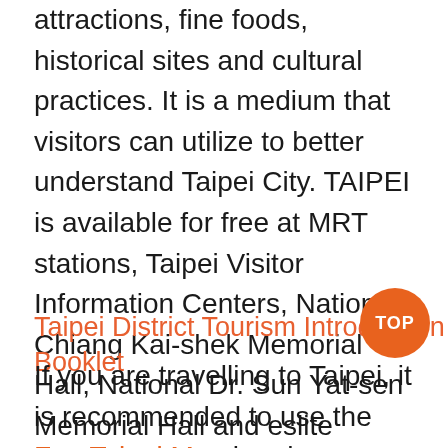attractions, fine foods, historical sites and cultural practices. It is a medium that visitors can utilize to better understand Taipei City. TAIPEI is available for free at MRT stations, Taipei Visitor Information Centers, National Chiang Kai-shek Memorial Hall, National Dr. Sun Yat-sen Memorial Hall and eslite Bookstores.
Taipei District Tourism Introduction Booklet
If you are travelling to Taipei, it is recommended to use the Fun Taipei Map brochure when planning your trip. This brochure introduces useful information on fine foods, transportation, Tourist Information Centers, Wi-Fi, and night markets in Taipei. It also